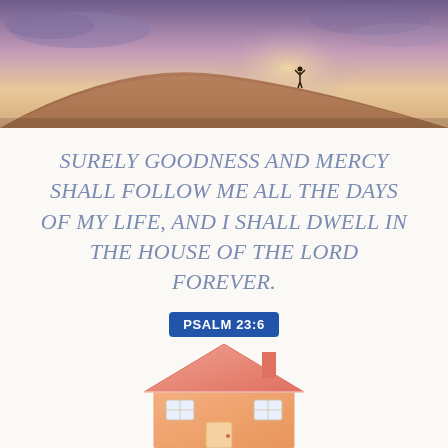[Figure (photo): A landscape photograph showing a person silhouetted on top of a hill with dramatic purple and golden sunrise/sunset sky and clouds]
SURELY GOODNESS AND MERCY SHALL FOLLOW ME ALL THE DAYS OF MY LIFE, AND I SHALL DWELL IN THE HOUSE OF THE LORD FOREVER.
PSALM 23:6
[Figure (illustration): A simple orange/peach colored house illustration with a triangular roof and windows, rendered in a soft warm tone]